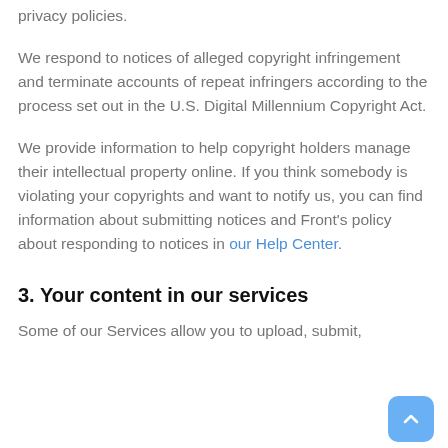privacy policies.
We respond to notices of alleged copyright infringement and terminate accounts of repeat infringers according to the process set out in the U.S. Digital Millennium Copyright Act.
We provide information to help copyright holders manage their intellectual property online. If you think somebody is violating your copyrights and want to notify us, you can find information about submitting notices and Front’s policy about responding to notices in our Help Center.
3. Your content in our services
Some of our Services allow you to upload, submit,